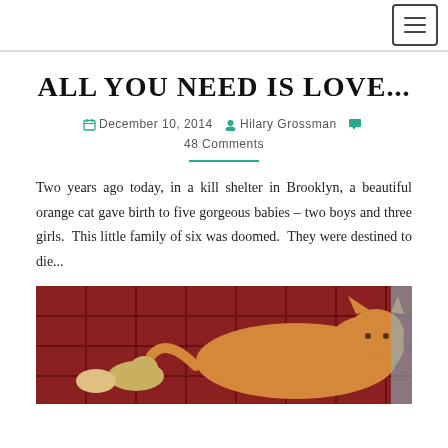[Navigation menu icon]
ALL YOU NEED IS LOVE...
December 10, 2014  Hilary Grossman  48 Comments
Two years ago today, in a kill shelter in Brooklyn, a beautiful orange cat gave birth to five gorgeous babies – two boys and three girls.  This little family of six was doomed.  They were destined to die...
[Figure (photo): Photo of an orange cat lying down with kittens in what appears to be a shelter cage with red background]